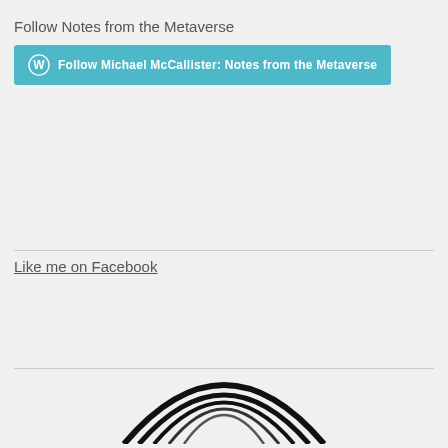Follow Notes from the Metaverse
[Figure (other): WordPress follow button: Follow Michael McCallister: Notes from the Metaverse]
Like me on Facebook
[Figure (logo): Partial logo/illustration at bottom of page showing curved arc lines in black and white]